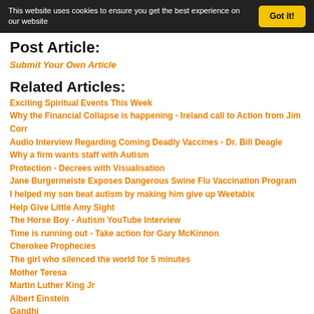This website uses cookies to ensure you get the best experience on our website  Got it!
Post Article:
Submit Your Own Article
Related Articles:
Exciting Spiritual Events This Week
Why the Financial Collapse is happening - Ireland call to Action from Jim Corr
Audio Interview Regarding Coming Deadly Vaccines - Dr. Bill Deagle
Why a firm wants staff with Autism
Protection - Decrees with Visualisation
Jane Burgermeiste Exposes Dangerous Swine Flu Vaccination Program
I helped my son beat autism by making him give up Weetabix
Help Give Little Amy Sight
The Horse Boy - Autism YouTube Interview
Time is running out - Take action for Gary McKinnon
Cherokee Prophecies
The girl who silenced the world for 5 minutes
Mother Teresa
Martin Luther King Jr
Albert Einstein
Gandhi
The Dalai Lama
The Gurkha Justice Campaign - Joanna Lumley
Ron Paul 'Let's End the Fed' Speech (This Speech will be famous)
Pleiadian Message - How to Spiritually Awaken (Video)